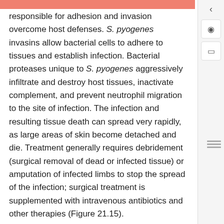pyogenes cause virulence factors that are responsible for adhesion and invasion overcome host defenses. S. pyogenes invasins allow bacterial cells to adhere to tissues and establish infection. Bacterial proteases unique to S. pyogenes aggressively infiltrate and destroy host tissues, inactivate complement, and prevent neutrophil migration to the site of infection. The infection and resulting tissue death can spread very rapidly, as large areas of skin become detached and die. Treatment generally requires debridement (surgical removal of dead or infected tissue) or amputation of infected limbs to stop the spread of the infection; surgical treatment is supplemented with intravenous antibiotics and other therapies (Figure 21.15).
Necrotizing fasciitis does not always originate from a skin infection; in some cases there is no known portal of entry. Some studies have suggested that